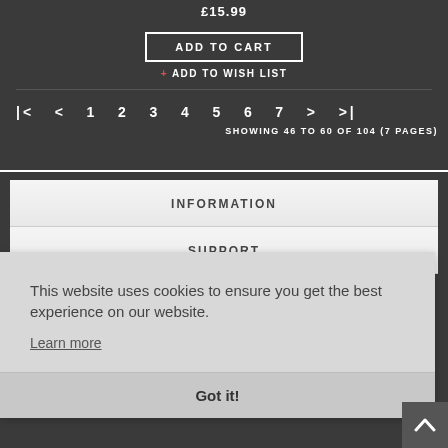£15.99
ADD TO CART
+ ADD TO WISH LIST
|< < 1 2 3 4 5 6 7 > >|
SHOWING 46 TO 60 OF 104 (7 PAGES)
INFORMATION
SUPPORT
This website uses cookies to ensure you get the best experience on our website.
Learn more
Got it!